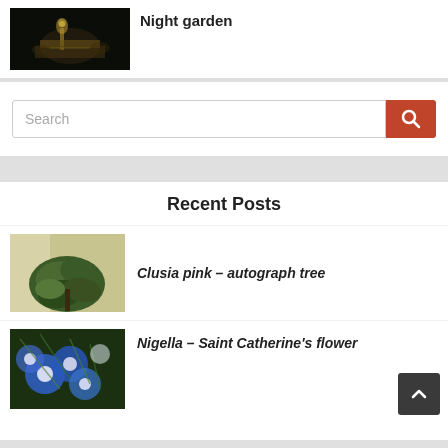[Figure (photo): Dark night garden scene with illuminated pathway and fountain]
Night garden
Search
Recent Posts
[Figure (photo): Clusia pink plant with large green leaves in a pot by a window]
Clusia pink – autograph tree
[Figure (photo): Nigella flowers in blue and white colors with feathery green foliage]
Nigella – Saint Catherine's flower